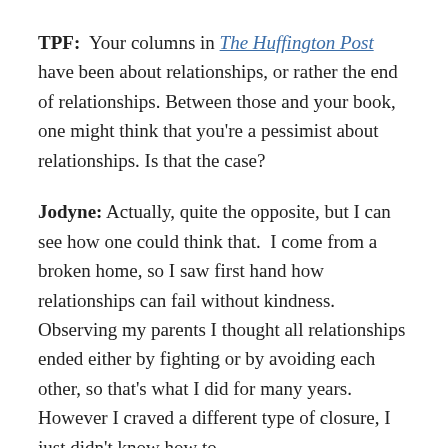TPF:  Your columns in The Huffington Post have been about relationships, or rather the end of relationships. Between those and your book, one might think that you're a pessimist about relationships. Is that the case?
Jodyne:  Actually, quite the opposite, but I can see how one could think that.  I come from a broken home, so I saw first hand how relationships can fail without kindness.  Observing my parents I thought all relationships ended either by fighting or by avoiding each other, so that's what I did for many years.  However I craved a different type of closure, I just didn't know how to